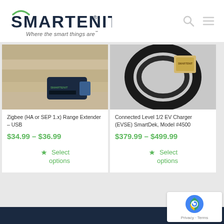[Figure (logo): Smartenit logo with arc over S, tagline 'Where the smart things are℠']
[Figure (photo): Zigbee USB Range Extender device on wood background]
Zigbee (HA or SEP 1.x) Range Extender – USB
$34.99 – $36.99
⚙ Select options
[Figure (photo): Connected Level 1/2 EV Charger cable and device on grey background]
Connected Level 1/2 EV Charger (EVSE) SmartDek, Model #4500
$379.99 – $499.99
⚙ Select options